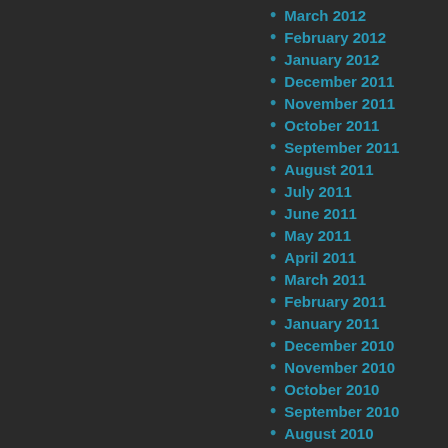March 2012
February 2012
January 2012
December 2011
November 2011
October 2011
September 2011
August 2011
July 2011
June 2011
May 2011
April 2011
March 2011
February 2011
January 2011
December 2010
November 2010
October 2010
September 2010
August 2010
July 2010
June 2010